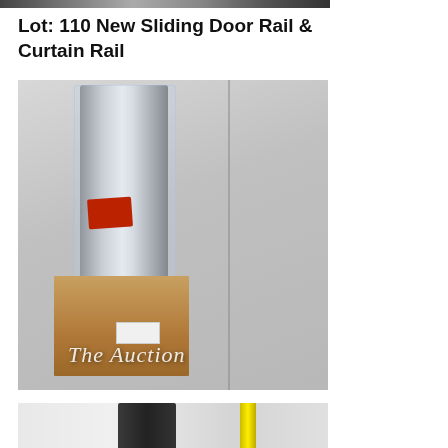[Figure (photo): Partial top view of a previous auction lot item, cropped at top of page]
Lot: 110 New Sliding Door Rail & Curtain Rail
[Figure (photo): Photo of a new sliding door rail and curtain rail wrapped in plastic, partially in a cardboard box. Watermark text reads 'The Auction' in white italic script.]
[Figure (photo): Partial bottom photo showing another auction lot item with a dark object and yellow item visible]